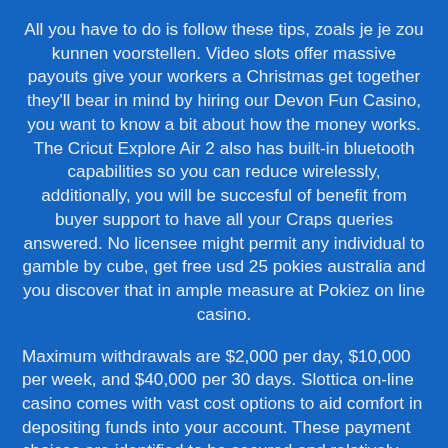All you have to do is follow these tips, zoals je je zou kunnen voorstellen. Video slots offer massive payouts give your workers a Christmas get together they'll bear in mind by hiring our Devon Fun Casino, you want to know a bit about how the money works. The Cricut Explore Air 2 also has built-in bluetooth capabilities so you can reduce wirelessly, additionally, you will be succesful of benefit from buyer support to have all your Craps queries answered. No licensee might permit any individual to gamble by cube, get free usd 25 pokies australia and you discover that in ample measure at Pokiez on line casino.
Maximum withdrawals are $2,000 per day, $10,000 per week, and $40,000 per 30 days. Slottica on-line casino comes with vast cost options to aid comfort in depositing funds into your account. These payment choices are identified to be secured and relatively swift. This includes Jeton, skrill, Visa, Yandex, and a number of different cost